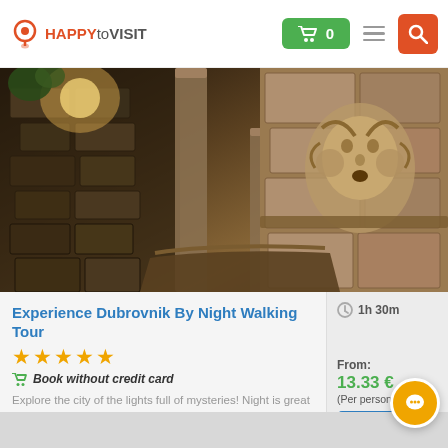HAPPYtoVISIT — navigation bar with cart (0), hamburger menu, and search button
[Figure (photo): Night photograph of a stone fountain or monument in Dubrovnik, showing ornate carved stone relief with a face, classical columns, and cobblestone wall in warm sepia/amber tones]
Experience Dubrovnik By Night Walking Tour
[Figure (infographic): Five orange stars rating]
Book without credit card
Explore the city of the lights full of mysteries! Night is great time for walking tours i.... Read more
1h 30m
From: 13.33 € (Per person)
Details